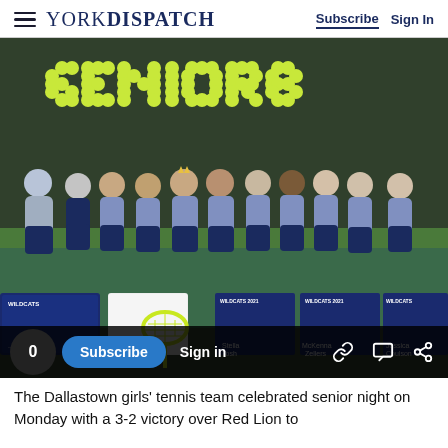YORK DISPATCH | Subscribe  Sign In
[Figure (photo): Group photo of the Dallastown girls' tennis team on a tennis court celebrating senior night. Players are wearing blue/purple shirts and navy skirts. Behind them is a fence decorated with tennis balls spelling out 'SENIORS'. On the ground are senior night banners including Stella Tosh, McKenna Zellers, and Jessica Coulson. In the foreground is a neon yellow tennis racket.]
The Dallastown girls' tennis team celebrated senior night on Monday with a 3-2 victory over Red Lion to